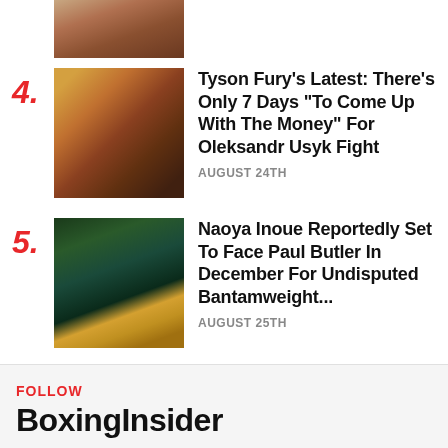[Figure (photo): Partial view of a boxer or sports figure, cropped at top of page]
4. Tyson Fury's Latest: There's Only 7 Days "To Come Up With The Money" For Oleksandr Usyk Fight — AUGUST 24TH
5. Naoya Inoue Reportedly Set To Face Paul Butler In December For Undisputed Bantamweight... — AUGUST 25TH
FOLLOW
BoxingInsider
Spotify